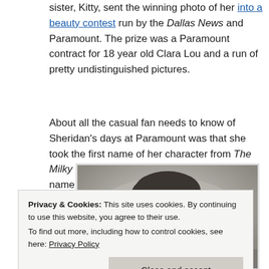sister, Kitty, sent the winning photo of her into a beauty contest run by the Dallas News and Paramount. The prize was a Paramount contract for 18 year old Clara Lou and a run of pretty undistinguished pictures.
About all the casual fan needs to know of Sheridan's days at Paramount was that she took the first name of her character from The Milky Way after the company thought her full name too long for the marquee. Starting in 1935, the star to be was billed as Ann Sheridan.
[Figure (photo): Black and white vintage photograph of a woman with dark curly hair and a flower accessory, in a reclining pose.]
Privacy & Cookies: This site uses cookies. By continuing to use this website, you agree to their use.
To find out more, including how to control cookies, see here: Privacy Policy
Close and accept